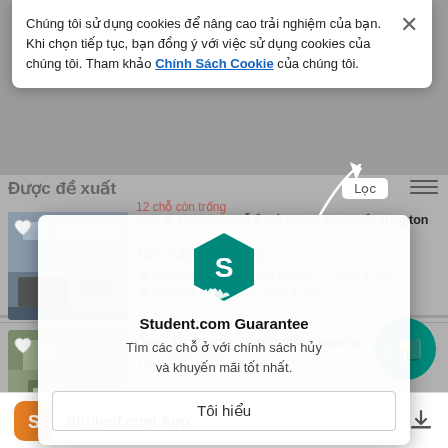[Figure (screenshot): Screenshot of Student.com housing listing app in Vietnamese with cookie consent banner, Student.com Guarantee overlay, and two housing listings visible]
Chúng tôi sử dụng cookies để nâng cao trải nghiệm của bạn. Khi chọn tiếp tục, bạn đồng ý với việc sử dụng cookies của chúng tôi. Tham khảo Chính Sách Cookie của chúng tôi.
Guy & Tìm các chỗ ở với chính sách hủy rrington ...
Từ CA$1 140 /tháng
Concordia University (Sir George ... | Walk 8 min
Concordia University | Walk 8 min
Student.com Guarantee
Tìm các chỗ ở với chính sách hủy và khuyến mãi tốt nhất.
Tôi hiểu
Guy - Concordia - Harrington Housing
Từ CA$1 080 /tháng
Student.com App